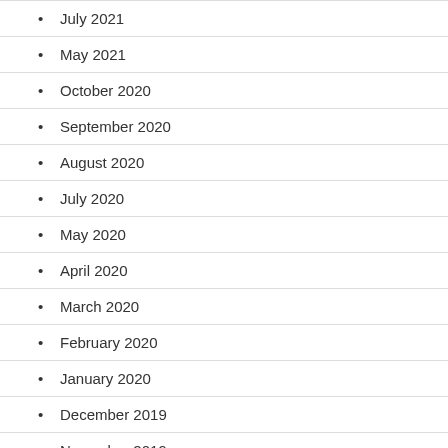July 2021
May 2021
October 2020
September 2020
August 2020
July 2020
May 2020
April 2020
March 2020
February 2020
January 2020
December 2019
November 2019
October 2019